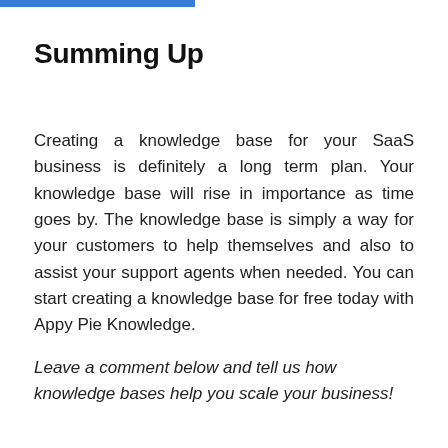Summing Up
Creating a knowledge base for your SaaS business is definitely a long term plan. Your knowledge base will rise in importance as time goes by. The knowledge base is simply a way for your customers to help themselves and also to assist your support agents when needed. You can start creating a knowledge base for free today with Appy Pie Knowledge.
Leave a comment below and tell us how knowledge bases help you scale your business!